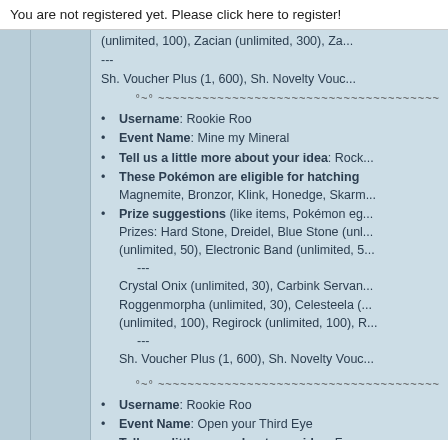You are not registered yet. Please click here to register!
(unlimited, 100), Zacian (unlimited, 300), Za...
---
Sh. Voucher Plus (1, 600), Sh. Novelty Vouc...
°~° ~~~~~~~~~~~~~~~~~~~
Username: Rookie Roo
Event Name: Mine my Mineral
Tell us a little more about your idea: Rock...
These Pokémon are eligible for hatching
Magnemite, Bronzor, Klink, Honedge, Skarm...
Prize suggestions (like items, Pokémon eg...
Prizes: Hard Stone, Dreidel, Blue Stone (unl...
(unlimited, 50), Electronic Band (unlimited, 5...
---
Crystal Onix (unlimited, 30), Carbink Servan...
Roggenmorpha (unlimited, 30), Celesteela (...
(unlimited, 100), Regirock (unlimited, 100), R...
---
Sh. Voucher Plus (1, 600), Sh. Novelty Vouc...
°~° ~~~~~~~~~~~~~~~~~~~
Username: Rookie Roo
Event Name: Open your Third Eye
Tell us a little more about your idea: For o...
These Pokémon are eligible for hatching
Natu, Galarian Ponyta, Ralts (because they...
Prize suggestions (like items, Pokémon...